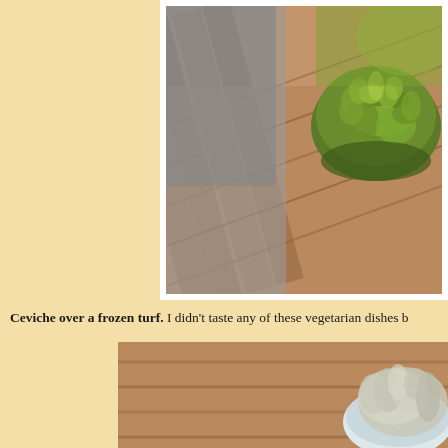[Figure (photo): Close-up photo of a lush green moss ball (kokedama) sitting on wooden decking boards, with soft focus background. Photo has a white border/frame.]
Ceviche over a frozen turf. I didn't taste any of these vegetarian dishes b
[Figure (photo): Close-up photo of a white bowl or plate with dried/frosted moss or plant material beside it on wooden decking boards.]